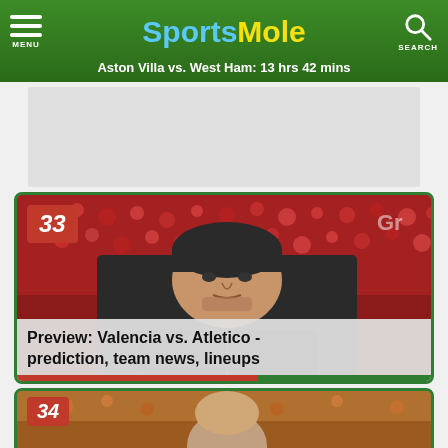SportsMole — Aston Villa vs. West Ham: 13 hrs 42 mins
[Figure (photo): Photo of Atletico Madrid manager Diego Simeone with crowd in background, numbered badge 33]
Preview: Valencia vs. Atletico - prediction, team news, lineups
[Figure (photo): Partial photo of another article, numbered badge 34]